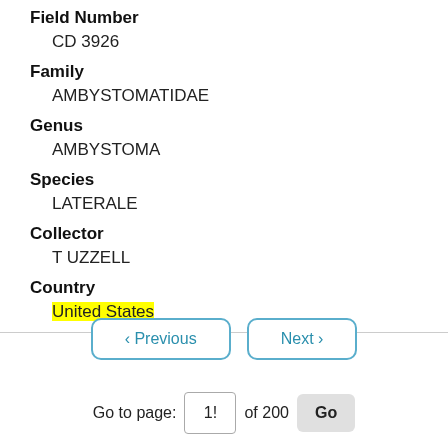Field Number
CD 3926
Family
AMBYSTOMATIDAE
Genus
AMBYSTOMA
Species
LATERALE
Collector
T UZZELL
Country
United States
< Previous   Next >
Go to page: 1! of 200 Go